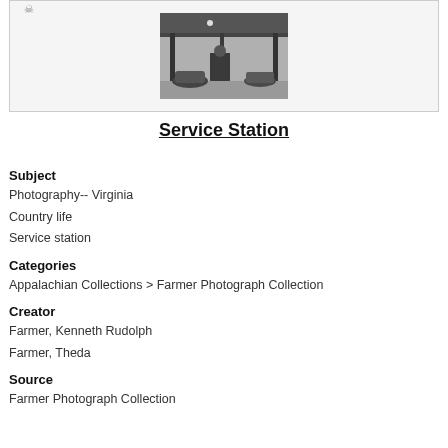[Figure (photo): Black and white photograph of a service station with a covered canopy area, vehicles, and equipment visible underneath.]
Service Station
Subject
Photography-- Virginia
Country life
Service station
Categories
Appalachian Collections > Farmer Photograph Collection
Creator
Farmer, Kenneth Rudolph
Farmer, Theda
Source
Farmer Photograph Collection